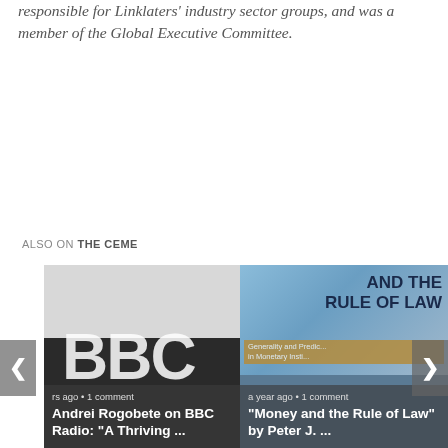responsible for Linklaters' industry sector groups, and was a member of the Global Executive Committee.
ALSO ON THE CEME
[Figure (photo): Card 1: BBC Radio logo on dark background with overlay text. Meta: 'rs ago • 1 comment'. Title: 'Andrei Rogobete on BBC Radio: "A Thriving ..."']
[Figure (photo): Card 2: Book cover 'AND THE RULE OF LAW' with subtitle 'Generality and Predictability in Monetary Institutions'. Meta: 'a year ago • 1 comment'. Title: '"Money and the Rule of Law" by Peter J. ...']